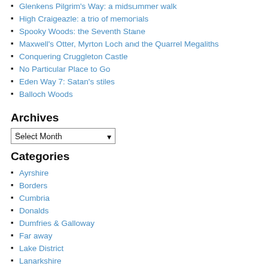Glenkens Pilgrim's Way: a midsummer walk
High Craigeazle: a trio of memorials
Spooky Woods: the Seventh Stane
Maxwell's Otter, Myrton Loch and the Quarrel Megaliths
Conquering Cruggleton Castle
No Particular Place to Go
Eden Way 7: Satan's stiles
Balloch Woods
Archives
Select Month (dropdown)
Categories
Ayrshire
Borders
Cumbria
Donalds
Dumfries & Galloway
Far away
Lake District
Lanarkshire
Northumberland
Peak District
Wainwrights